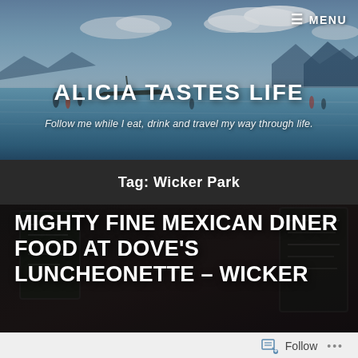[Figure (photo): Beach/ocean header banner with mountains in background, boats, and people wading in water. Sky with clouds above.]
≡ MENU
ALICIA TASTES LIFE
Follow me while I eat, drink and travel my way through life.
Tag: Wicker Park
[Figure (photo): Dark restaurant interior with chalkboard signs visible in background.]
MIGHTY FINE MEXICAN DINER FOOD AT DOVE'S LUNCHEONETTE – WICKER
Follow ...